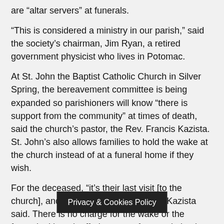are “altar servers” at funerals.
“This is considered a ministry in our parish,” said the society’s chairman, Jim Ryan, a retired government physicist who lives in Potomac.
At St. John the Baptist Catholic Church in Silver Spring, the bereavement committee is being expanded so parishioners will know “there is support from the community” at times of death, said the church’s pastor, the Rev. Francis Kazista. St. John’s also allows families to hold the wake at the church instead of at a funeral home if they wish.
For the deceased, “it’s their last visit [to the church], and we keep them overnight,” Kazista said. There is no charge for the wake or the funeral, although offerings are often made by the family.
Muslims, who wash the deceased in a rite similar to that by Jews, usually call an official of their mosque to perform the ritual, according to a spokesman for the Afgha… nunity group
Privacy & Cookies Policy